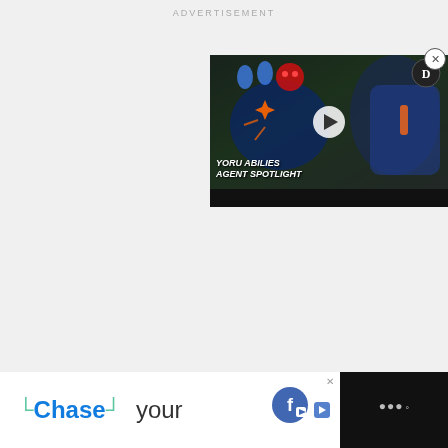ADVERTISEMENT
[Figure (screenshot): Video player widget showing 'YORU ABILITIES AGENT SPOTLIGHT' game video thumbnail with play button overlay and Digger logo, on dark background with bottom control bar]
[Figure (screenshot): Bottom advertisement banner: Chase bank ad with 'Chase your' text and Facebook Gaming logo with close button, on dark background with weather widget icon]